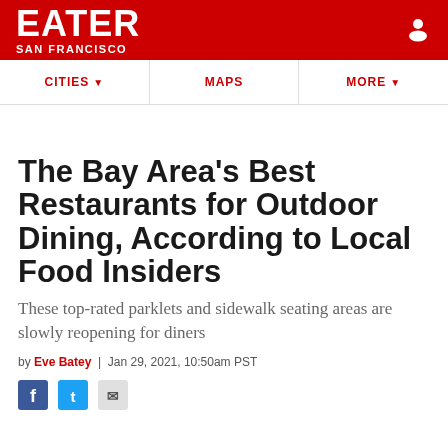EATER SAN FRANCISCO
CITIES  MAPS  MORE
The Bay Area's Best Restaurants for Outdoor Dining, According to Local Food Insiders
These top-rated parklets and sidewalk seating areas are slowly reopening for diners
by Eve Batey | Jan 29, 2021, 10:50am PST